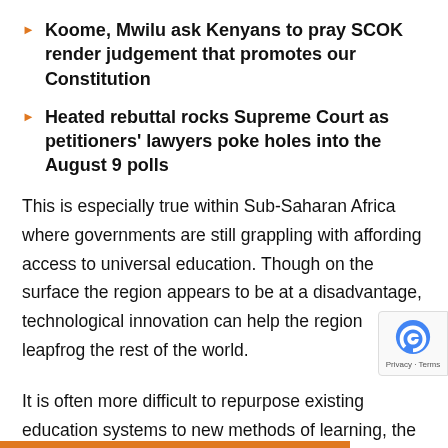Koome, Mwilu ask Kenyans to pray SCOK render judgement that promotes our Constitution
Heated rebuttal rocks Supreme Court as petitioners' lawyers poke holes into the August 9 polls
This is especially true within Sub-Saharan Africa where governments are still grappling with affording access to universal education. Though on the surface the region appears to be at a disadvantage, technological innovation can help the region leapfrog the rest of the world.
It is often more difficult to repurpose existing education systems to new methods of learning, the education infrastructure and curriculum gap in Sub-Saharan Africa can easily be bridged through concepts such as Individualized Learning and E-